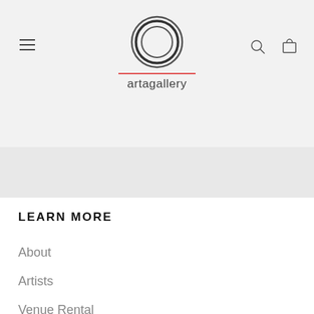[Figure (logo): Arta Gallery logo: circular brushstroke icon above the text 'artagallery' with a red underline]
LEARN MORE
About
Artists
Venue Rental
Blog
Shipping Policy